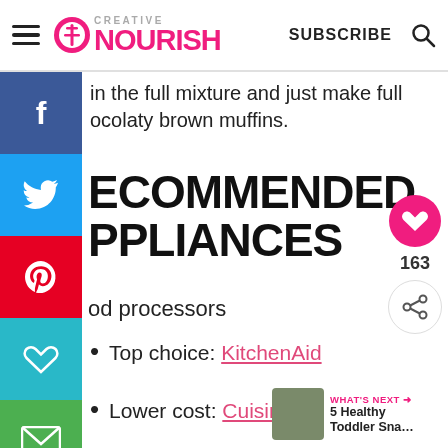Creative Nourish — SUBSCRIBE
in the full mixture and just make full chocolaty brown muffins.
RECOMMENDED APPLIANCES
od processors
Top choice: KitchenAid
Lower cost: Cuisinart